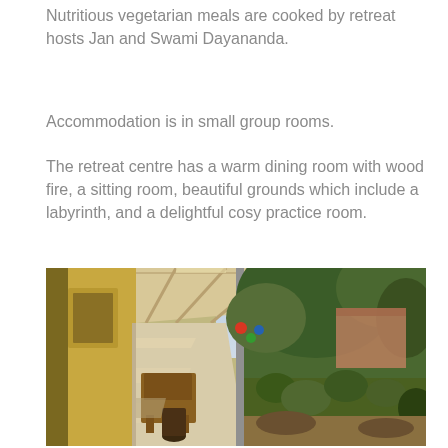Nutritious vegetarian meals are cooked by retreat hosts Jan and Swami Dayananda.
Accommodation is in small group rooms.
The retreat centre has a warm dining room with wood fire, a sitting room, beautiful grounds which include a labyrinth, and a delightful cosy practice room.
[Figure (photo): Outdoor covered walkway/corridor along a building with wooden chairs, overlooking a lush garden with trees and greenery. Natural sunlight and shadows visible on a concrete path.]